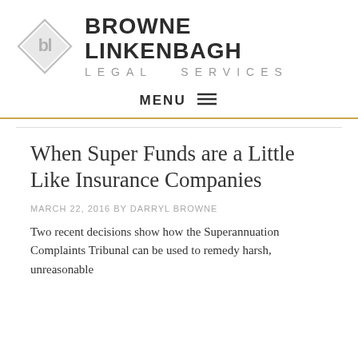[Figure (logo): Browne Linkenbagh Legal Services logo: diamond shape with 'bl' initials, alongside firm name in bold sans-serif]
MENU ≡
When Super Funds are a Little Like Insurance Companies
MARCH 22, 2016 BY DARRYL BROWNE
Two recent decisions show how the Superannuation Complaints Tribunal can be used to remedy harsh, unreasonable